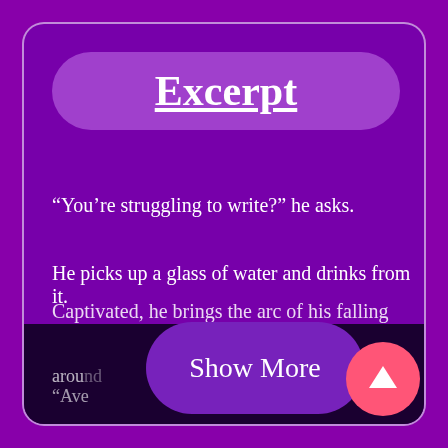Excerpt
“You’re struggling to write?” he asks.
He picks up a glass of water and drinks from it.
Captivated, he brings the arc of his falling curve around
Show More